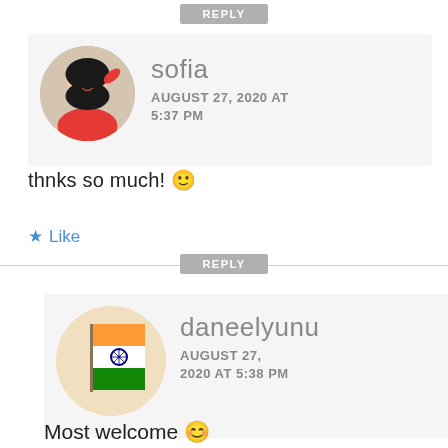[Figure (screenshot): REPLY button at top, gray rounded rectangle]
[Figure (photo): Profile photo of sofia - young woman in red top with dark hair]
sofia
AUGUST 27, 2020 AT 5:37 PM
thnks so much! 🙂
★ Like
[Figure (screenshot): REPLY button, gray rounded rectangle]
[Figure (photo): Profile photo of daneelyunu - Indian flag]
daneelyunu
AUGUST 27, 2020 AT 5:38 PM
Most welcome 😊